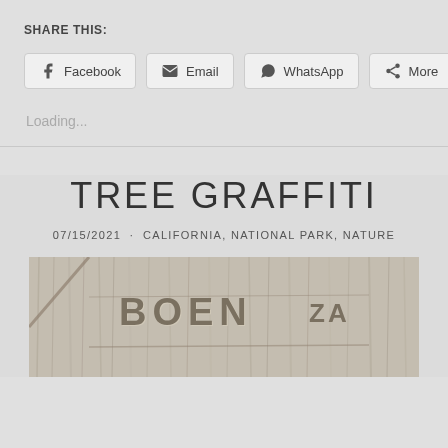SHARE THIS:
[Figure (screenshot): Social share buttons row: Facebook, Email, WhatsApp, More]
Loading...
TREE GRAFFITI
07/15/2021 · CALIFORNIA, NATIONAL PARK, NATURE
[Figure (photo): Close-up photograph of graffiti carved into tree bark, showing letters including BOEN or similar carved text on a textured gray-brown bark surface]